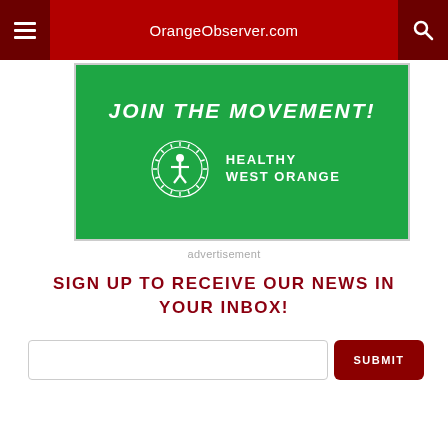OrangeObserver.com
[Figure (illustration): Healthy West Orange advertisement banner with green background. Text reads 'JOIN THE MOVEMENT!' with a circular logo featuring a person with arms raised and text 'HEALTHY WEST ORANGE'.]
advertisement
SIGN UP TO RECEIVE OUR NEWS IN YOUR INBOX!